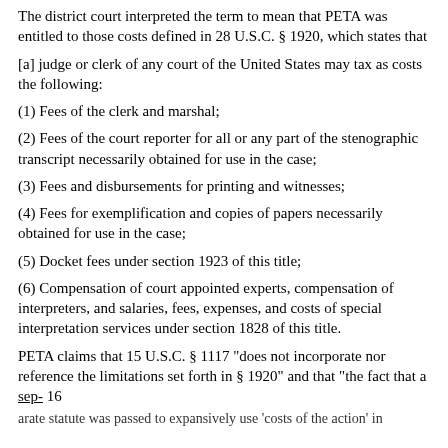The district court interpreted the term to mean that PETA was entitled to those costs defined in 28 U.S.C. § 1920, which states that
[a] judge or clerk of any court of the United States may tax as costs the following:
(1) Fees of the clerk and marshal;
(2) Fees of the court reporter for all or any part of the stenographic transcript necessarily obtained for use in the case;
(3) Fees and disbursements for printing and witnesses;
(4) Fees for exemplification and copies of papers necessarily obtained for use in the case;
(5) Docket fees under section 1923 of this title;
(6) Compensation of court appointed experts, compensation of interpreters, and salaries, fees, expenses, and costs of special interpretation services under section 1828 of this title.
PETA claims that 15 U.S.C. § 1117 "does not incorporate nor reference the limitations set forth in § 1920" and that "the fact that a sep- 16
arate statute was passed to expansively use 'costs of the action' in